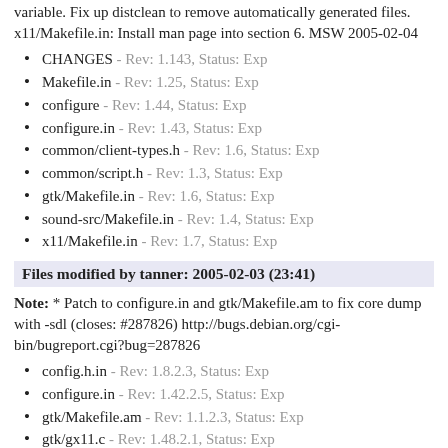variable. Fix up distclean to remove automatically generated files. x11/Makefile.in: Install man page into section 6. MSW 2005-02-04
CHANGES - Rev: 1.143, Status: Exp
Makefile.in - Rev: 1.25, Status: Exp
configure - Rev: 1.44, Status: Exp
configure.in - Rev: 1.43, Status: Exp
common/client-types.h - Rev: 1.6, Status: Exp
common/script.h - Rev: 1.3, Status: Exp
gtk/Makefile.in - Rev: 1.6, Status: Exp
sound-src/Makefile.in - Rev: 1.4, Status: Exp
x11/Makefile.in - Rev: 1.7, Status: Exp
Files modified by tanner: 2005-02-03 (23:41)
Note: * Patch to configure.in and gtk/Makefile.am to fix core dump with -sdl (closes: #287826) http://bugs.debian.org/cgi-bin/bugreport.cgi?bug=287826
config.h.in - Rev: 1.8.2.3, Status: Exp
configure.in - Rev: 1.42.2.5, Status: Exp
gtk/Makefile.am - Rev: 1.1.2.3, Status: Exp
gtk/gx11.c - Rev: 1.48.2.1, Status: Exp
gtk/map.c - Rev: 1.23.2.1, Status: Exp